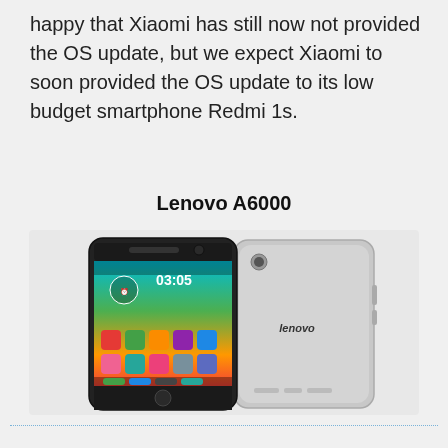happy that Xiaomi has still now not provided the OS update, but we expect Xiaomi to soon provided the OS update to its low budget smartphone Redmi 1s.
Lenovo A6000
[Figure (photo): Lenovo A6000 smartphone shown from front and back. The front shows the phone screen with a colorful interface displaying time 03:05, and the back shows the silver chassis with Lenovo logo.]